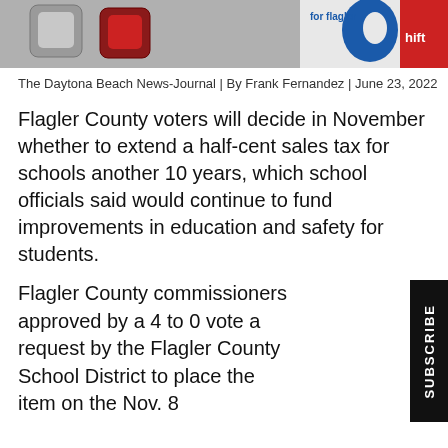[Figure (photo): Partial view of a keyboard and what appears to be a campaign logo for Flagler Schools with red and blue colors; partially cut off at top of page.]
The Daytona Beach News-Journal | By Frank Fernandez | June 23, 2022
Flagler County voters will decide in November whether to extend a half-cent sales tax for schools another 10 years, which school officials said would continue to fund improvements in education and safety for students.
Flagler County commissioners approved by a 4 to 0 vote a request by the Flagler County School District to place the item on the Nov. 8